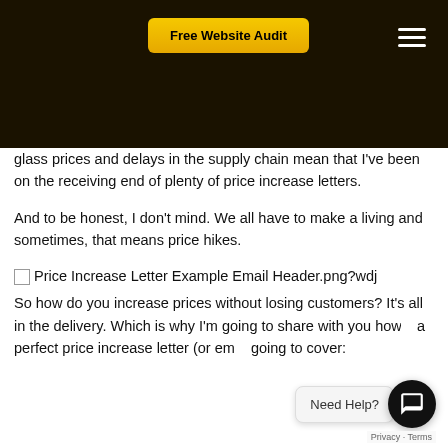Free Website Audit
glass prices and delays in the supply chain mean that I've been on the receiving end of plenty of price increase letters.
And to be honest, I don't mind. We all have to make a living and sometimes, that means price hikes.
[Figure (other): Broken image placeholder for Price Increase Letter Example Email Header.png?wdj]
So how do you increase prices without losing customers? It's all in the delivery. Which is why I'm going to share with you how to write a perfect price increase letter (or em... going to cover: